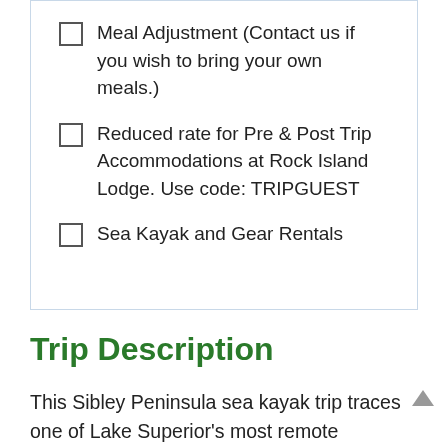Meal Adjustment (Contact us if you wish to bring your own meals.)
Reduced rate for Pre & Post Trip Accommodations at Rock Island Lodge. Use code: TRIPGUEST
Sea Kayak and Gear Rentals
Trip Description
This Sibley Peninsula sea kayak trip traces one of Lake Superior's most remote sections from the Silver Islet area along the outer islands ending at the quaint community of Rossport, Ontario. It's part of Canada Parks' newest